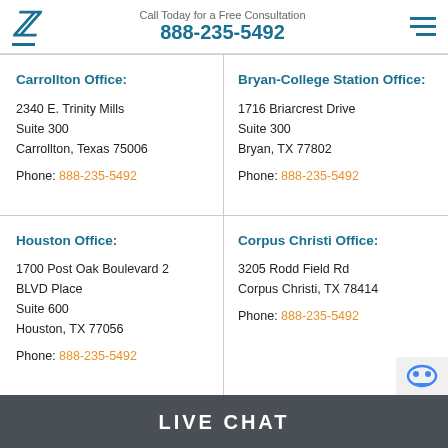Call Today for a Free Consultation 888-235-5492
Carrollton Office:
2340 E. Trinity Mills
Suite 300
Carrollton, Texas 75006

Phone: 888-235-5492
Bryan-College Station Office:
1716 Briarcrest Drive
Suite 300
Bryan, TX 77802

Phone: 888-235-5492
Houston Office:
1700 Post Oak Boulevard 2
BLVD Place
Suite 600
Houston, TX 77056

Phone: 888-235-5492
Corpus Christi Office:
3205 Rodd Field Rd
Corpus Christi, TX 78414

Phone: 888-235-5492
LIVE CHAT